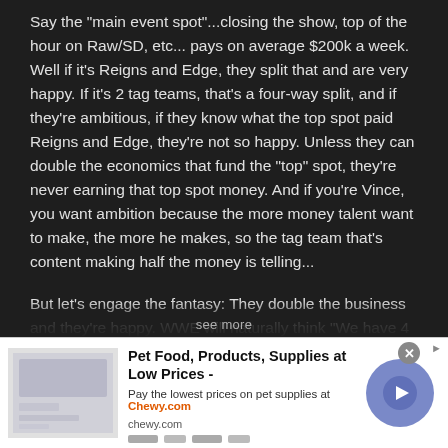Say the "main event spot"...closing the show, top of the hour on Raw/SD, etc... pays on average $200k a week. Well if it's Reigns and Edge, they split that and are very happy. If it's 2 tag teams, that's a four-way split, and if they're ambitious, if they know what the top spot paid Reigns and Edge, they're not so happy. Unless they can double the economics that fund the "top" spot, they're never earning that top spot money. And if you're Vince, you want ambition because the more money talent want to make, the more he makes, so the tag team that's content making half the money is telling...
But let's engage the fantasy: They double the business and they're happy. WWE will naturally think "We have 4 top stars in only 2 marketing packages. We're actually losing money with the current setup. And for single a storyline, our product...
see more
[Figure (screenshot): Advertisement banner for Chewy.com: Pet Food, Products, Supplies at Low Prices. Contains a product image placeholder on the left, ad text in the middle, and a blue circular arrow/play button on the right. A close (X) button appears in the top right.]